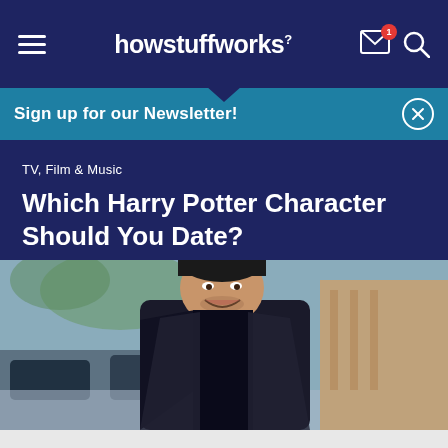howstuffworks
Sign up for our Newsletter!
TV, Film & Music
Which Harry Potter Character Should You Date?
[Figure (photo): A smiling young man wearing a dark jacket and beanie hat, photographed outdoors on a street with cars and buildings in the background.]